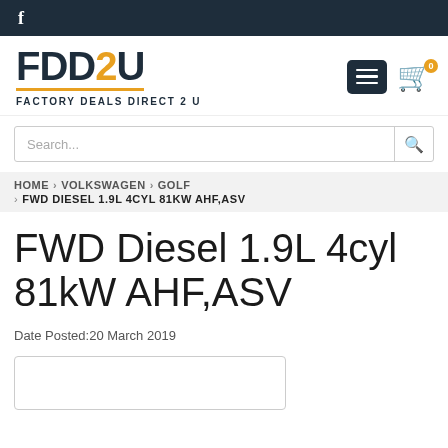f
[Figure (logo): FDD2U - Factory Deals Direct 2 U logo with menu and cart icons]
Search...
HOME › VOLKSWAGEN › GOLF › FWD DIESEL 1.9L 4CYL 81KW AHF,ASV
FWD Diesel 1.9L 4cyl 81kW AHF,ASV
Date Posted:20 March 2019